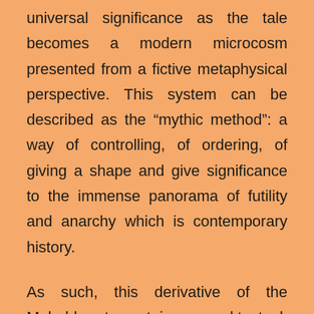universal significance as the tale becomes a modern microcosm presented from a fictive metaphysical perspective. This system can be described as the “mythic method”: a way of controlling, of ordering, of giving a shape and give significance to the immense panorama of futility and anarchy which is contemporary history.
As such, this derivative of the Mahabharata contains several textual, biographical, temporal, and topographical discrepancies during its adaption to a contemporary novel, as do the names and some facts derived from the lives of